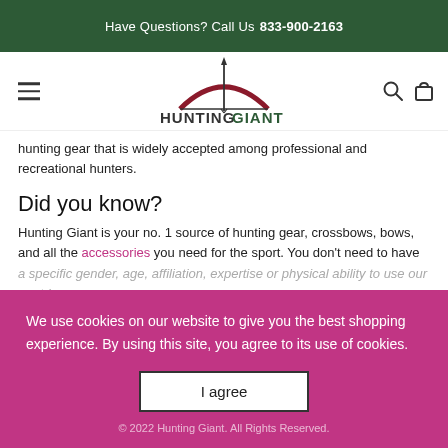Have Questions? Call Us 833-900-2163
[Figure (logo): Hunting Giant logo with bow and arrow graphic above the text HUNTINGGIANT]
hunting gear that is widely accepted among professional and recreational hunters.
Did you know?
Hunting Giant is your no. 1 source of hunting gear, crossbows, bows, and all the accessories you need for the sport. You don't need to have a specific gender, age, affiliation, expertise or physical ability to use our e[quipment and enjoy the outdoors].
We use cookies on our website to give you the best shopping experience. By using this site, you agree to its use of cookies.
I agree
© 2022 Hunting Giant. All Rights Reserved.